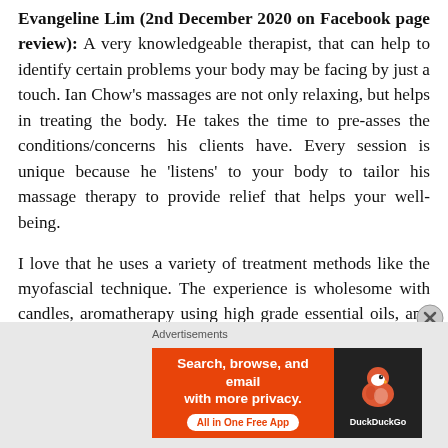Evangeline Lim (2nd December 2020 on Facebook page review): A very knowledgeable therapist, that can help to identify certain problems your body may be facing by just a touch. Ian Chow's massages are not only relaxing, but helps in treating the body. He takes the time to pre-asses the conditions/concerns his clients have. Every session is unique because he 'listens' to your body to tailor his massage therapy to provide relief that helps your well-being.

I love that he uses a variety of treatment methods like the myofascial technique. The experience is wholesome with candles, aromatherapy using high grade essential oils, and soothing music to aid in your mental and
[Figure (screenshot): Advertisement banner at bottom of page. Grey bar with 'Advertisements' label, orange DuckDuckGo banner reading 'Search, browse, and email with more privacy. All in One Free App' with DuckDuckGo logo on dark right panel. Close button (X) at top right.]